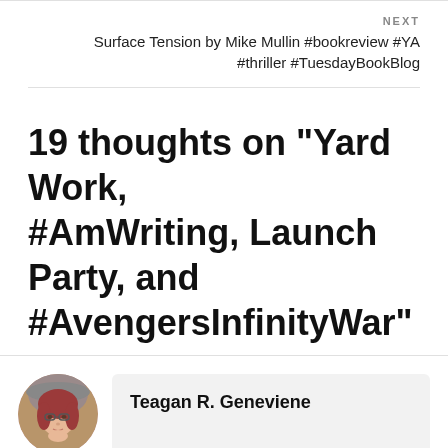NEXT
Surface Tension by Mike Mullin #bookreview #YA #thriller #TuesdayBookBlog
19 thoughts on “Yard Work, #AmWriting, Launch Party, and #AvengersInfinityWar”
[Figure (photo): Circular avatar photo of Teagan R. Geneviene, a woman with red hair and glasses, posed with hand near chin, against a hat/background.]
Teagan R. Geneviene